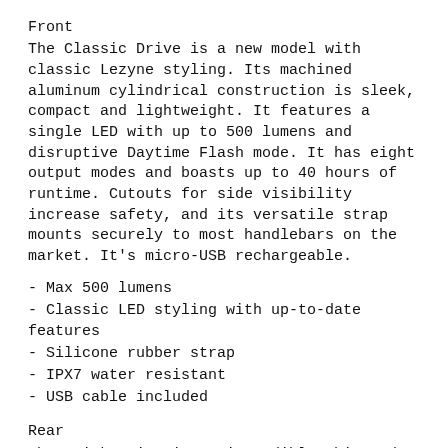Front
The Classic Drive is a new model with classic Lezyne styling. Its machined aluminum cylindrical construction is sleek, compact and lightweight. It features a single LED with up to 500 lumens and disruptive Daytime Flash mode. It has eight output modes and boasts up to 40 hours of runtime. Cutouts for side visibility increase safety, and its versatile strap mounts securely to most handlebars on the market. It's micro-USB rechargeable.
- Max 500 lumens
- Classic LED styling with up-to-date features
- Silicone rubber strap
- IPX7 water resistant
- USB cable included
Rear
The Stick Drive is an incredibly thin and lightweight